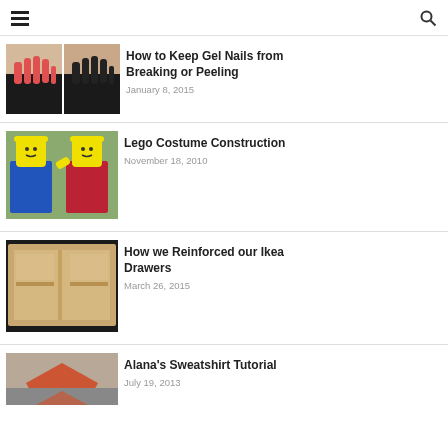Navigation menu and search icon
[Figure (photo): Two photos of hands with painted nails (red and black) side by side]
How to Keep Gel Nails from Breaking or Peeling
January 8, 2015
[Figure (photo): Two children dressed in Lego minifigure costumes (blue and red)]
Lego Costume Construction
November 18, 2010
[Figure (photo): Cardboard and wood drawer reinforcement from Ikea]
How we Reinforced our Ikea Drawers
March 26, 2015
[Figure (photo): Sweatshirt fabric with orange and gray pattern]
Alana's Sweatshirt Tutorial
July 19, 2013